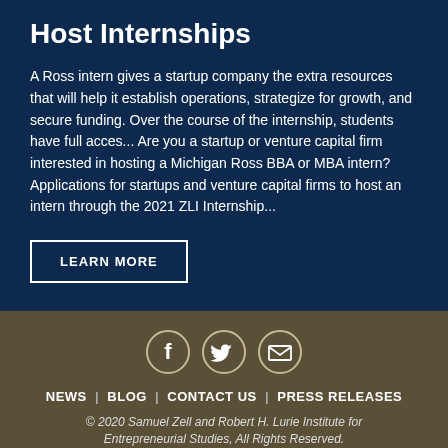Host Internships
A Ross intern gives a startup company the extra resources that will help it establish operations, strategize for growth, and secure funding. Over the course of the internship, students have full acces... Are you a startup or venture capital firm interested in hosting a Michigan Ross BBA or MBA intern? Applications for startups and venture capital firms to host an intern through the 2021 ZLI Internship...
LEARN MORE
[Figure (illustration): Social media icons: Facebook, Twitter, Email in circular outlines]
NEWS | BLOG | CONTACT US | PRESS RELEASES
© 2020 Samuel Zell and Robert H. Lurie Institute for Entrepreneurial Studies, All Rights Reserved.